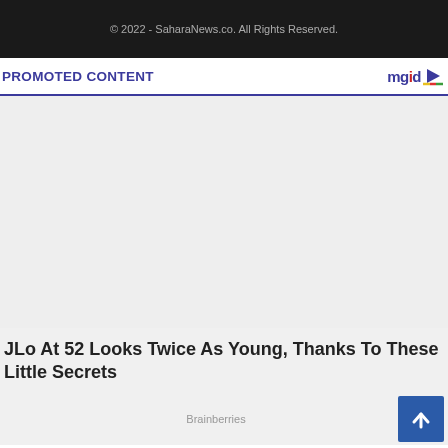© 2022 - SaharaNews.co. All Rights Reserved.
PROMOTED CONTENT
[Figure (other): Empty promoted content area placeholder (light gray background)]
JLo At 52 Looks Twice As Young, Thanks To These Little Secrets
Brainberries